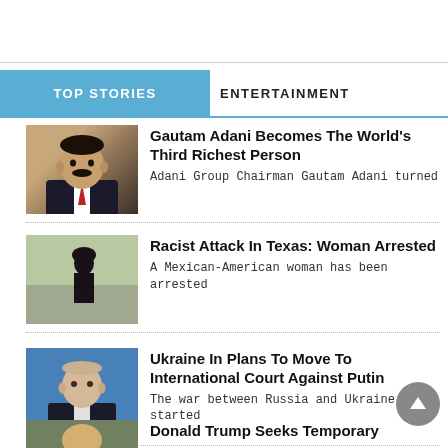TOP STORIES | ENTERTAINMENT
Gautam Adani Becomes The World's Third Richest Person
Adani Group Chairman Gautam Adani turned
Racist Attack In Texas: Woman Arrested
A Mexican-American woman has been arrested
Ukraine In Plans To Move To International Court Against Putin
The war between Russia and Ukraine started
Donald Trump Seeks Temporary